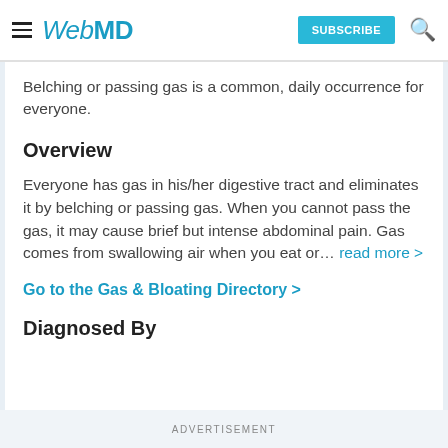WebMD — SUBSCRIBE
Belching or passing gas is a common, daily occurrence for everyone.
Overview
Everyone has gas in his/her digestive tract and eliminates it by belching or passing gas. When you cannot pass the gas, it may cause brief but intense abdominal pain. Gas comes from swallowing air when you eat or... read more >
Go to the Gas & Bloating Directory >
Diagnosed By
ADVERTISEMENT